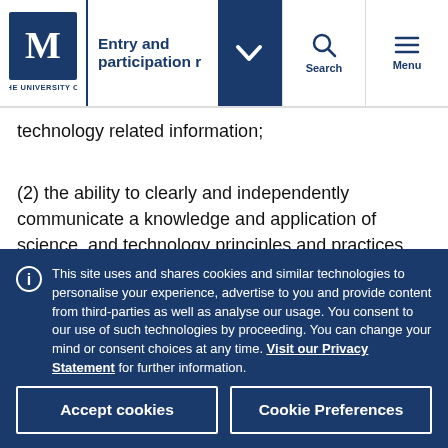Entry and participation | [University of Melbourne navigation]
technology related information;
(2) the ability to clearly and independently communicate a knowledge and application of science, and technology principles and practices during assessment tasks;
This site uses and shares cookies and similar technologies to personalise your experience, advertise to you and provide content from third-parties as well as analyse our usage. You consent to our use of such technologies by proceeding. You can change your mind or consent choices at any time. Visit our Privacy Statement for further information.
Accept cookies
Cookie Preferences